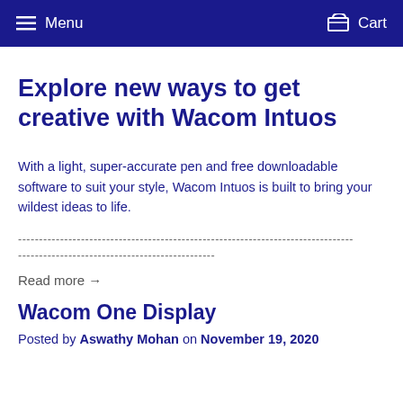Menu  Cart
Explore new ways to get creative with Wacom Intuos
With a light, super-accurate pen and free downloadable software to suit your style, Wacom Intuos is built to bring your wildest ideas to life.
Read more →
Wacom One Display
Posted by Aswathy Mohan on November 19, 2020